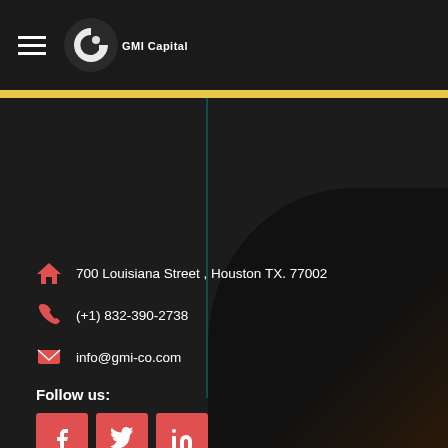GMI Capital
700 Louisiana Street , Houston TX. 77002
(+1) 832-390-2738
info@gmi-co.com
Follow us:
[Figure (illustration): Social media buttons: Facebook, Twitter, LinkedIn in red/coral square buttons]